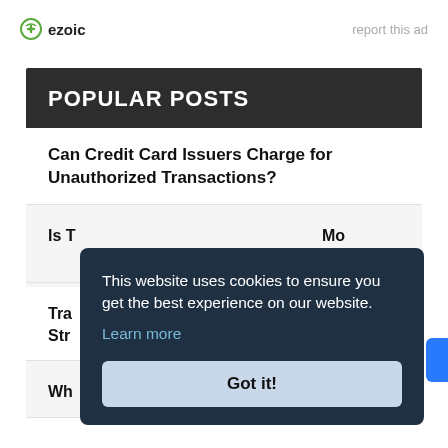[Figure (logo): Ezoic logo with green circle icon and 'ezoic' text]
report this ad
POPULAR POSTS
Can Credit Card Issuers Charge for Unauthorized Transactions?
Is T... (partially obscured) Mo...
Tra... Str... (partially obscured)
Wh... (partially obscured)
This website uses cookies to ensure you get the best experience on our website. Learn more
Got it!